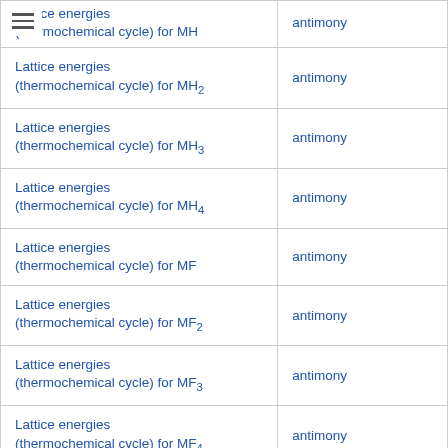|  |  |
| --- | --- |
| Lattice energies (thermochemical cycle) for MH | antimony |
| Lattice energies (thermochemical cycle) for MH2 | antimony |
| Lattice energies (thermochemical cycle) for MH3 | antimony |
| Lattice energies (thermochemical cycle) for MH4 | antimony |
| Lattice energies (thermochemical cycle) for MF | antimony |
| Lattice energies (thermochemical cycle) for MF2 | antimony |
| Lattice energies (thermochemical cycle) for MF3 | antimony |
| Lattice energies (thermochemical cycle) for MF4 | antimony |
| Lattice energies (thermochemical cycle) for MCl | antimony |